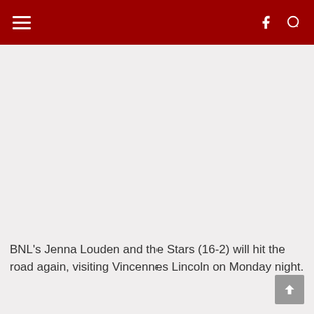≡  f 🔍
BNL's Jenna Louden and the Stars (16-2) will hit the road again, visiting Vincennes Lincoln on Monday night.
By Justin Sokeland